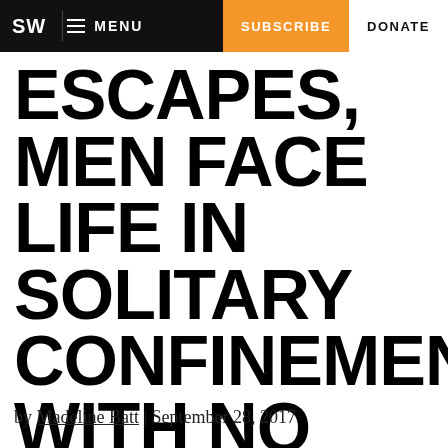SW | MENU | SUBSCRIBE | DONATE
ESCAPES, MEN FACE LIFE IN SOLITARY CONFINEMENT WITH NO WAY OUT
by Madeline Batt | September 28, 2017